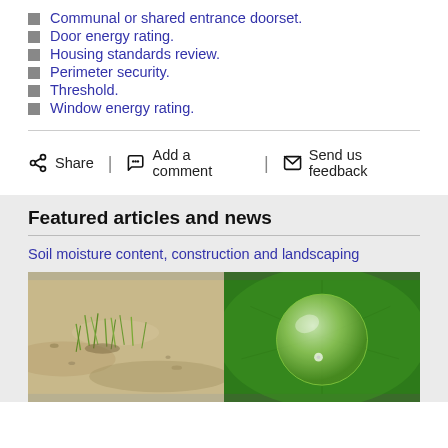Communal or shared entrance doorset.
Door energy rating.
Housing standards review.
Perimeter security.
Threshold.
Window energy rating.
Share | Add a comment | Send us feedback
Featured articles and news
Soil moisture content, construction and landscaping
[Figure (photo): Two photos side by side: left shows dry sandy soil with sparse green grass shoots, right shows a large water droplet on a green leaf]